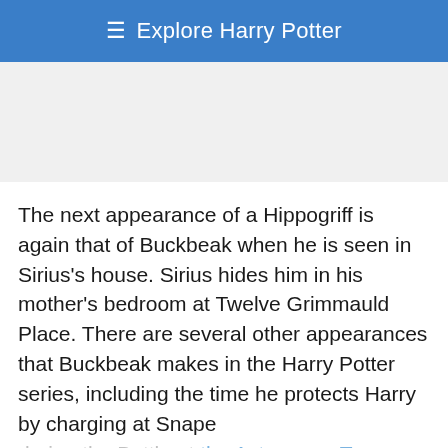≡ Explore Harry Potter
[Figure (other): Advertisement placeholder area, light gray background]
The next appearance of a Hippogriff is again that of Buckbeak when he is seen in Sirius's house. Sirius hides him in his mother's bedroom at Twelve Grimmauld Place. There are several other appearances that Buckbeak makes in the Harry Potter series, including the time he protects Harry by charging at Snape during the Battle at the Astronomy Tower, and the time he leads a herd of thestrals to attack